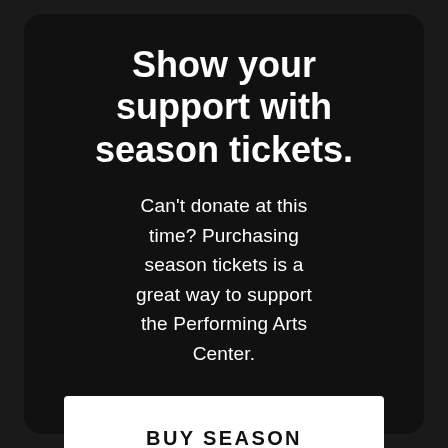Show your support with season tickets.
Can't donate at this time? Purchasing season tickets is a great way to support the Performing Arts Center.
BUY SEASON TICKETS